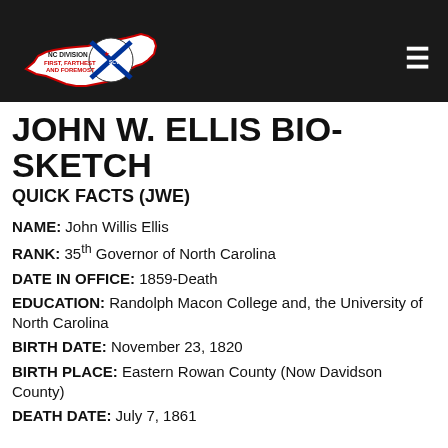[Figure (logo): NC Division Sons of Confederate Veterans logo — white outline of North Carolina state shape with Confederate battle flag emblem and text 'NC DIVISION FIRST, FARTHEST AND FOREMOST']
JOHN W. ELLIS BIO-SKETCH
QUICK FACTS (JWE)
NAME: John Willis Ellis
RANK: 35th Governor of North Carolina
DATE IN OFFICE: 1859-Death
EDUCATION: Randolph Macon College and, the University of North Carolina
BIRTH DATE: November 23, 1820
BIRTH PLACE: Eastern Rowan County (Now Davidson County)
DEATH DATE: July 7, 1861